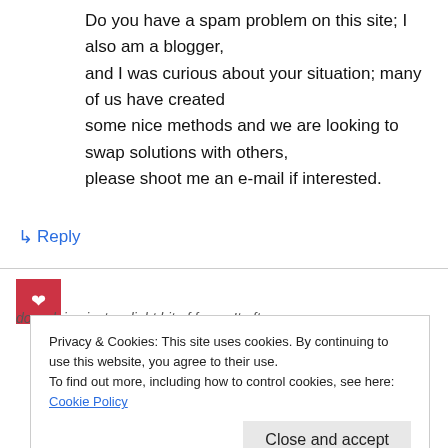Do you have a spam problem on this site; I also am a blogger, and I was curious about your situation; many of us have created some nice methods and we are looking to swap solutions with others, please shoot me an e-mail if interested.
↳ Reply
Privacy & Cookies: This site uses cookies. By continuing to use this website, you agree to their use. To find out more, including how to control cookies, see here: Cookie Policy
Close and accept
door doing just a slight bit of force. It often